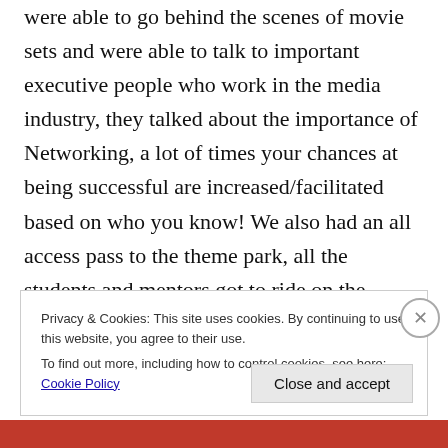were able to go behind the scenes of movie sets and were able to talk to important executive people who work in the media industry, they talked about the importance of Networking, a lot of times your chances at being successful are increased/facilitated based on who you know! We also had an all access pass to the theme park, all the students and mentors got to ride on the attractions for a few hours, it was soooo much fun,
Privacy & Cookies: This site uses cookies. By continuing to use this website, you agree to their use. To find out more, including how to control cookies, see here: Cookie Policy